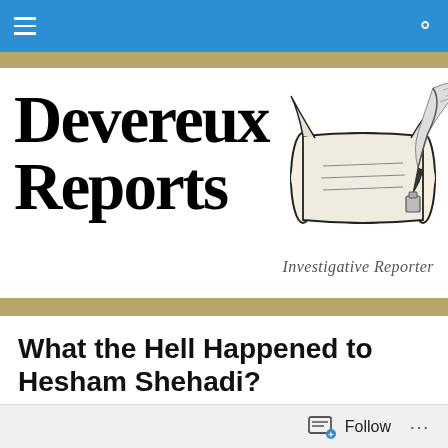Devereux Reports — navigation bar
[Figure (logo): Devereux Reports logo with large serif text 'Devereux Reports' and an illustrated quill scroll, tagline 'Investigative Reporter']
What the Hell Happened to Hesham Shehadi?
[Originally published in Devereux